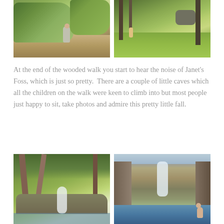[Figure (photo): Two outdoor nature photos side by side. Left: a child walking on a dirt path surrounded by lush green plants in bright sunlight. Right: a woodland scene with green ground cover, trees, and dappled sunlight with a small figure in the background.]
At the end of the wooded walk you start to hear the noise of Janet's Foss, which is just so pretty.  There are a couple of little caves which all the children on the walk were keen to climb into but most people just happy to sit, take photos and admire this pretty little fall.
[Figure (photo): Two outdoor waterfall photos side by side. Left: a lush green woodland scene with a small waterfall cascading over mossy rocks. Right: a waterfall falling into a pool of water with rocky cliffs on either side, a person visible at the bottom right.]